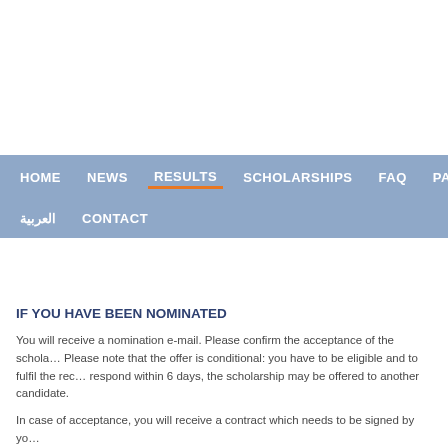Navigation bar: HOME | NEWS | RESULTS | SCHOLARSHIPS | FAQ | PARTNERS | العربية | CONTACT
IF YOU HAVE BEEN NOMINATED
You will receive a nomination e-mail. Please confirm the acceptance of the scholarship. Please note that the offer is conditional: you have to be eligible and to fulfil the requirements. If you do not respond within 6 days, the scholarship may be offered to another candidate.
In case of acceptance, you will receive a contract which needs to be signed by you.
The nomination letter includes the details of your scholarship and the e-mail address of the programme/activities, start and end date of your mobility, admission requirements